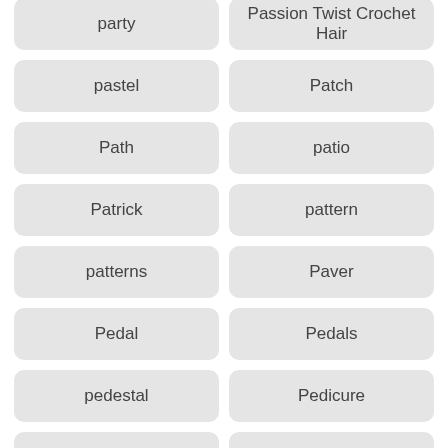party
Passion Twist Crochet Hair
pastel
Patch
Path
patio
Patrick
pattern
patterns
Paver
Pedal
Pedals
pedestal
Pedicure
Peel
pemberley
Pencil
pendant
Pennywise
penthouses